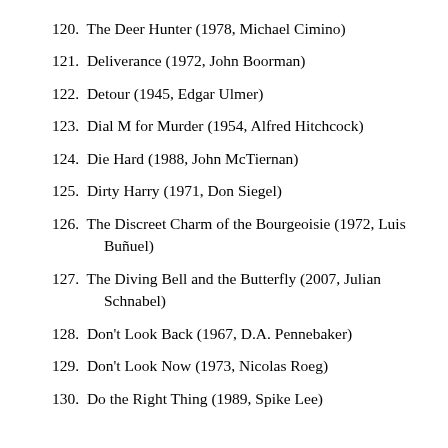120. The Deer Hunter (1978, Michael Cimino)
121. Deliverance (1972, John Boorman)
122. Detour (1945, Edgar Ulmer)
123. Dial M for Murder (1954, Alfred Hitchcock)
124. Die Hard (1988, John McTiernan)
125. Dirty Harry (1971, Don Siegel)
126. The Discreet Charm of the Bourgeoisie (1972, Luis Buñuel)
127. The Diving Bell and the Butterfly (2007, Julian Schnabel)
128. Don't Look Back (1967, D.A. Pennebaker)
129. Don't Look Now (1973, Nicolas Roeg)
130. Do the Right Thing (1989, Spike Lee)